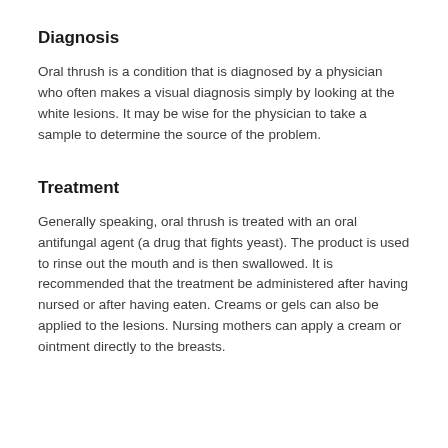Diagnosis
Oral thrush is a condition that is diagnosed by a physician who often makes a visual diagnosis simply by looking at the white lesions. It may be wise for the physician to take a sample to determine the source of the problem.
Treatment
Generally speaking, oral thrush is treated with an oral antifungal agent (a drug that fights yeast). The product is used to rinse out the mouth and is then swallowed. It is recommended that the treatment be administered after having nursed or after having eaten. Creams or gels can also be applied to the lesions. Nursing mothers can apply a cream or ointment directly to the breasts.